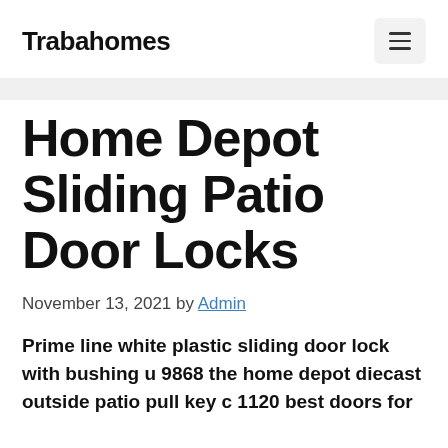Trabahomes
Home Depot Sliding Patio Door Locks
November 13, 2021 by Admin
Prime line white plastic sliding door lock with bushing u 9868 the home depot diecast outside patio pull key c 1120 best doors for